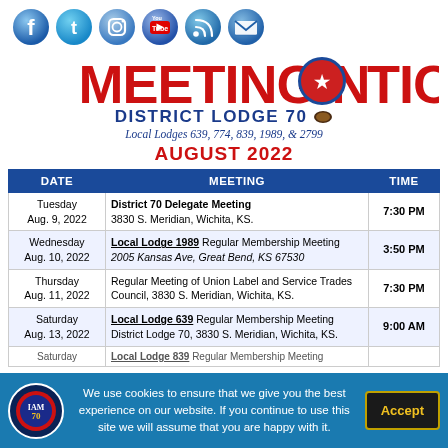[Figure (illustration): Six social media icon buttons (Facebook, Twitter, Instagram, YouTube, RSS, Email) as blue 3D-style circular icons]
MEETING NOTICE
DISTRICT LODGE 70
Local Lodges 639, 774, 839, 1989, & 2799
AUGUST 2022
| DATE | MEETING | TIME |
| --- | --- | --- |
| Tuesday
Aug. 9, 2022 | District 70 Delegate Meeting
3830 S. Meridian, Wichita, KS. | 7:30 PM |
| Wednesday
Aug. 10, 2022 | Local Lodge 1989 Regular Membership Meeting
2005 Kansas Ave, Great Bend, KS 67530 | 3:50 PM |
| Thursday
Aug. 11, 2022 | Regular Meeting of Union Label and Service Trades Council, 3830 S. Meridian, Wichita, KS. | 7:30 PM |
| Saturday
Aug. 13, 2022 | Local Lodge 639 Regular Membership Meeting
District Lodge 70, 3830 S. Meridian, Wichita, KS. | 9:00 AM |
| Saturday | Local Lodge 839 Regular Membership Meeting |  |
We use cookies to ensure that we give you the best experience on our website. If you continue to use this site we will assume that you are happy with it.